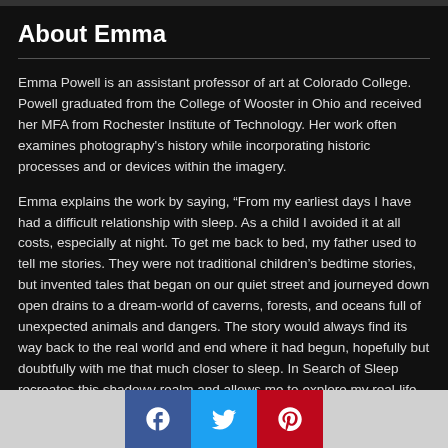About Emma
Emma Powell is an assistant professor of art at Colorado College. Powell graduated from the College of Wooster in Ohio and received her MFA from Rochester Institute of Technology. Her work often examines photography's history while incorporating historic processes and or devices within the imagery.
Emma explains the work by saying, “From my earliest days I have had a difficult relationship with sleep. As a child I avoided it at all costs, especially at night. To get me back to bed, my father used to tell me stories. They were not traditional children’s bedtime stories, but invented tales that began on our quiet street and journeyed down open drains to a dream-world of caverns, forests, and oceans full of unexpected animals and dangers. The story would always find its way back to the real world and end where it had begun, hopefully but doubtfully with me that much closer to sleep. In Search of Sleep recreates this shadowy realm and allows me to explore my real-life questions, from personal dramas to romantic doubts. The cyanotype process, with its distinctive blue tones, visually traverses the distance between waking and sleeping. These images are also
[Figure (infographic): Social media sharing buttons: Facebook (blue), Twitter (light blue), Pinterest (red)]